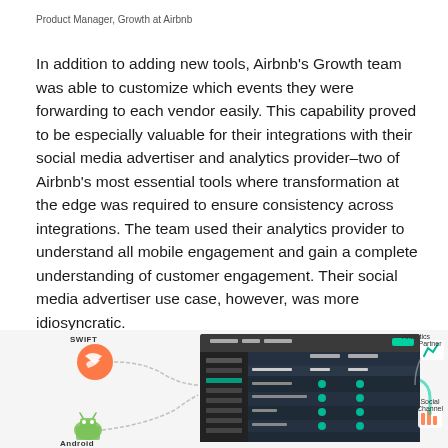Product Manager, Growth at Airbnb
In addition to adding new tools, Airbnb's Growth team was able to customize which events they were forwarding to each vendor easily. This capability proved to be especially valuable for their integrations with their social media advertiser and analytics provider–two of Airbnb's most essential tools where transformation at the edge was required to ensure consistency across integrations. The team used their analytics provider to understand all mobile engagement and gain a complete understanding of customer engagement. Their social media advertiser use case, however, was more idiosyncratic.
[Figure (screenshot): Screenshot of a data integration/connections dashboard interface showing a dark-themed UI with connection settings, filters, and platform toggles. Overlaid labels show Swift and Android on the left side, and Analytics Partner and Social Channel on the right side, with connecting arrows and icons.]